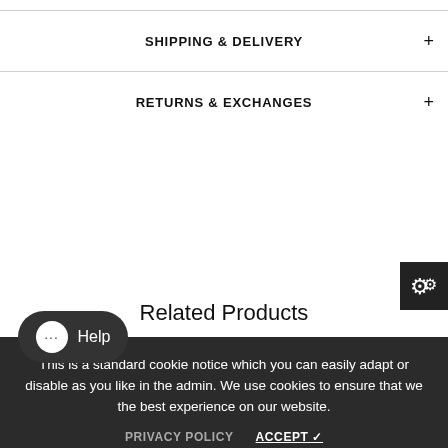SHIPPING & DELIVERY
RETURNS & EXCHANGES
Related Products
This is a standard cookie notice which you can easily adapt or disable as you like in the admin. We use cookies to ensure that we the best experience on our website.
PRIVACY POLICY   ACCEPT ✓